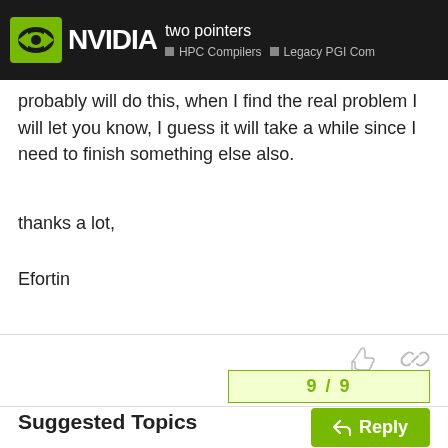two pointers | HPC Compilers | Legacy PGI Com
probably will do this, when I find the real problem I will let you know, I guess it will take a while since I need to finish something else also.

thanks a lot,

Efortin
9 / 9
Reply
Suggested Topics
The program fails on GPU
Legacy PGI Compilers   Jun 20   2
Incorrect floating point exception from nvfortran 22.5
8